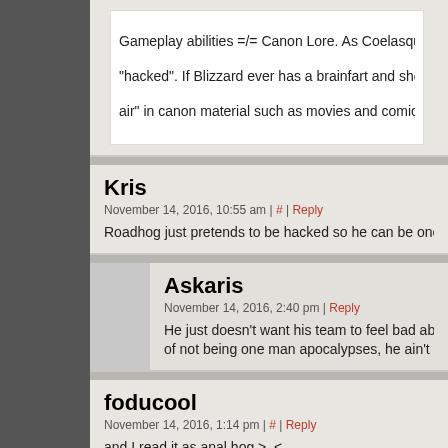Gameplay abilities =/= Canon Lore. As Coelasquid said, "hacked". If Blizzard ever has a brainfart and shows Som... air" in canon material such as movies and comics, I'm go...
Kris
November 14, 2016, 10:55 am | # | Reply
Roadhog just pretends to be hacked so he can be one of the cool kid...
Askaris
November 14, 2016, 2:40 pm | Reply
He just doesn't want his team to feel bad about getting hacked... of not being one man apocalypses, he ain't gunna rub it in.
foducool
November 14, 2016, 1:14 pm | # | Reply
and I read it as anal hog >_<
TFC
November 20, 2016, 6:39 pm | Reply
Considering how much dirty fanart of him i find, you're excuse...